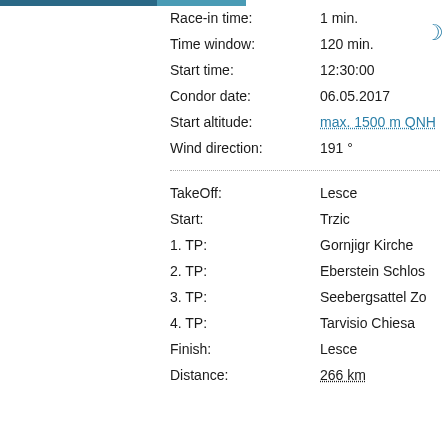Race-in time: 1 min.
Time window: 120 min.
Start time: 12:30:00
Condor date: 06.05.2017
Start altitude: max. 1500 m QNH
Wind direction: 191 °
TakeOff: Lesce
Start: Trzic
1. TP: Gornjigr Kirche
2. TP: Eberstein Schlos
3. TP: Seebergsattel Zo
4. TP: Tarvisio Chiesa
Finish: Lesce
Distance: 266 km